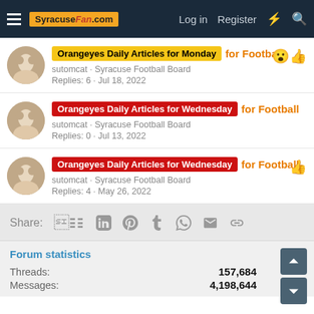SyracuseFan.com — Log in | Register
Orangeyes Daily Articles for Monday for Football — sutomcat · Syracuse Football Board — Replies: 6 · Jul 18, 2022
Orangeyes Daily Articles for Wednesday for Football — sutomcat · Syracuse Football Board — Replies: 0 · Jul 13, 2022
Orangeyes Daily Articles for Wednesday for Football — sutomcat · Syracuse Football Board — Replies: 4 · May 26, 2022
Share: Facebook Twitter Pinterest Tumblr WhatsApp Email Link
Forum statistics
Threads: 157,684
Messages: 4,198,644